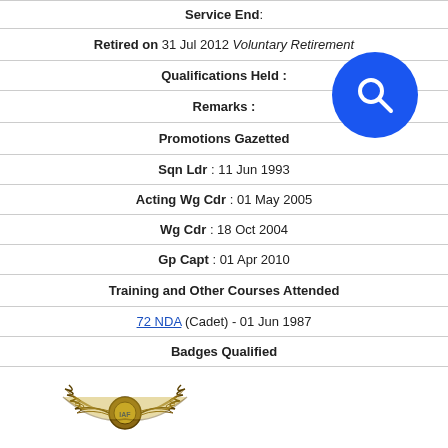Service End:
Retired on 31 Jul 2012 Voluntary Retirement
Qualifications Held :
Remarks :
Promotions Gazetted
Sqn Ldr : 11 Jun 1993
Acting Wg Cdr : 01 May 2005
Wg Cdr : 18 Oct 2004
Gp Capt : 01 Apr 2010
Training and Other Courses Attended
72 NDA (Cadet) - 01 Jun 1987
Badges Qualified
[Figure (illustration): Indian Air Force pilot wings badge]